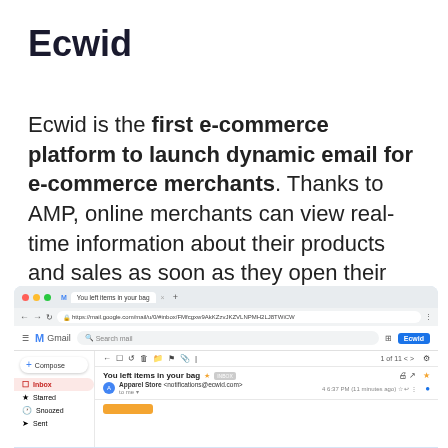Ecwid
Ecwid is the first e-commerce platform to launch dynamic email for e-commerce merchants. Thanks to AMP, online merchants can view real-time information about their products and sales as soon as they open their emails.
[Figure (screenshot): A Gmail inbox screenshot in Google Chrome browser showing an email titled 'You left items in your bag' from Apparel Store, with an Ecwid button in the top right, and a compose panel on the left sidebar.]